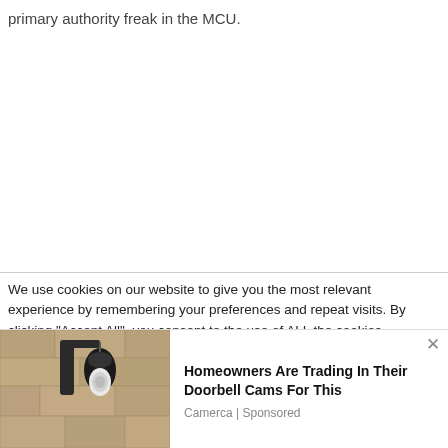primary authority freak in the MCU.
We use cookies on our website to give you the most relevant experience by remembering your preferences and repeat visits. By clicking "Accept All", you consent to the use of ALL the cookies. However, you may visit "Cookie Settings" to provide a controlled consent.
[Figure (photo): Outdoor wall-mounted security camera or light fixture on a stone/brick wall]
Homeowners Are Trading In Their Doorbell Cams For This
Camerca | Sponsored